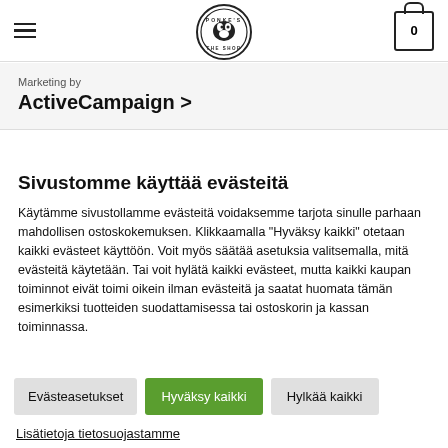Ponke's The Shop — navigation header with hamburger menu, logo, and cart (0)
Marketing by
ActiveCampaign >
Sivustomme käyttää evästeitä
Käytämme sivustollamme evästeitä voidaksemme tarjota sinulle parhaan mahdollisen ostoskokemuksen. Klikkaamalla "Hyväksy kaikki" otetaan kaikki evästeet käyttöön. Voit myös säätää asetuksia valitsemalla, mitä evästeitä käytetään. Tai voit hylätä kaikki evästeet, mutta kaikki kaupan toiminnot eivät toimi oikein ilman evästeitä ja saatat huomata tämän esimerkiksi tuotteiden suodattamisessa tai ostoskorin ja kassan toiminnassa.
Evästeasetukset
Hyväksy kaikki
Hylkää kaikki
Lisätietoja tietosuojastamme